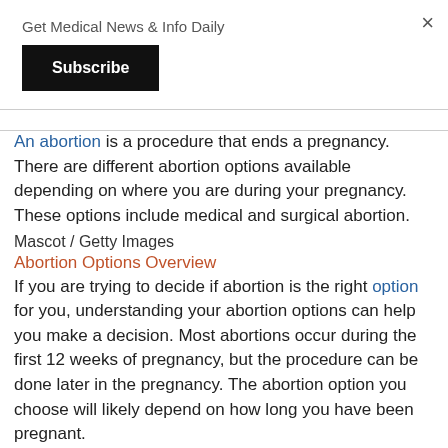Get Medical News & Info Daily
Subscribe
An abortion is a procedure that ends a pregnancy. There are different abortion options available depending on where you are during your pregnancy. These options include medical and surgical abortion.
Mascot / Getty Images
Abortion Options Overview
If you are trying to decide if abortion is the right option for you, understanding your abortion options can help you make a decision. Most abortions occur during the first 12 weeks of pregnancy, but the procedure can be done later in the pregnancy. The abortion option you choose will likely depend on how long you have been pregnant.
You have three options for premature termination of pregnancy that can be used to effectively and safely